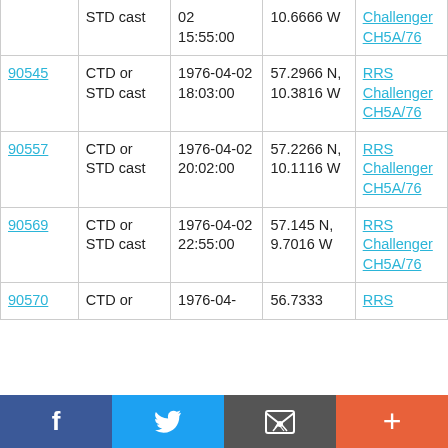|  | STD cast | 02
15:55:00 | 10.6666 W | Challenger CH5A/76 |
| 90545 | CTD or STD cast | 1976-04-02
18:03:00 | 57.2966 N, 10.3816 W | RRS Challenger CH5A/76 |
| 90557 | CTD or STD cast | 1976-04-02
20:02:00 | 57.2266 N, 10.1116 W | RRS Challenger CH5A/76 |
| 90569 | CTD or STD cast | 1976-04-02
22:55:00 | 57.145 N, 9.7016 W | RRS Challenger CH5A/76 |
| 90570 | CTD or | 1976-04- | 56.7333 | RRS |